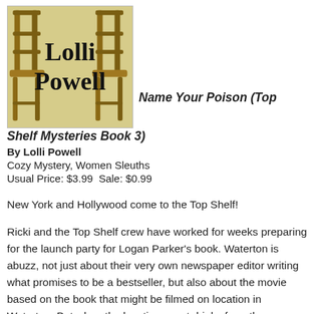[Figure (illustration): Book cover illustration showing two wooden chairs on either side with the author name 'Lolli Powell' in bold serif text on a tan/khaki background]
Name Your Poison (Top Shelf Mysteries Book 3)
By Lolli Powell
Cozy Mystery, Women Sleuths
Usual Price: $3.99  Sale: $0.99
New York and Hollywood come to the Top Shelf!
Ricki and the Top Shelf crew have worked for weeks preparing for the launch party for Logan Parker's book. Waterton is abuzz, not just about their very own newspaper editor writing what promises to be a bestseller, but also about the movie based on the book that might be filmed on location in Waterton. But when the location scout drinks from the wrong energy drink—well, nothing ruins a party like a dead body!